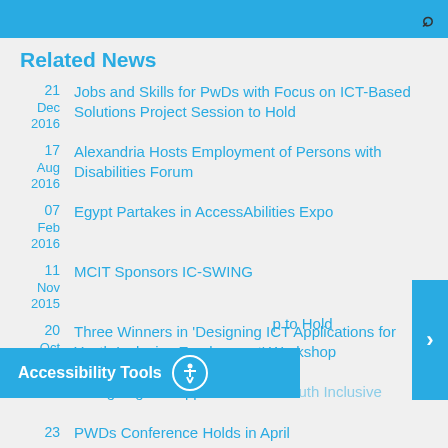Related News
21 Dec 2016 – Jobs and Skills for PwDs with Focus on ICT-Based Solutions Project Session to Hold
17 Aug 2016 – Alexandria Hosts Employment of Persons with Disabilities Forum
07 Feb 2016 – Egypt Partakes in AccessAbilities Expo
11 Nov 2015 – MCIT Sponsors IC-SWING
20 Oct 2015 – Three Winners in 'Designing ICT Applications for Youth Inclusive Employment' Workshop
'Designing ICT Applications for Youth Inclusive [Employment]' to Hold
23 – PWDs Conference Holds in April